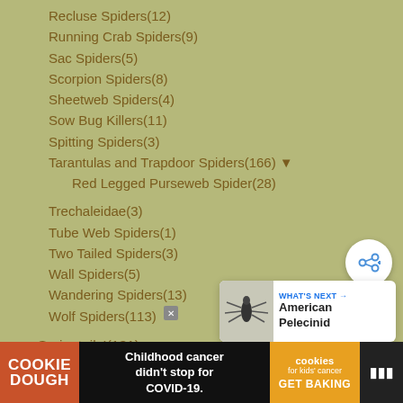Recluse Spiders(12)
Running Crab Spiders(9)
Sac Spiders(5)
Scorpion Spiders(8)
Sheetweb Spiders(4)
Sow Bug Killers(11)
Spitting Spiders(3)
Tarantulas and Trapdoor Spiders(166) ▼
Red Legged Purseweb Spider(28)
Trechaleidae(3)
Tube Web Spiders(1)
Two Tailed Spiders(3)
Wall Spiders(5)
Wandering Spiders(13)
Wolf Spiders(113)
Springtails!(131)
Stoneflies and Snowflies(94)
Termites(86)
[Figure (other): Share button overlay (circular white button with share icon)]
[Figure (other): What's Next card showing American Pelecinid with insect photo]
[Figure (other): Advertisement banner: Cookie Dough / Childhood cancer didn't stop for COVID-19 / cookies for kids cancer GET BAKING]